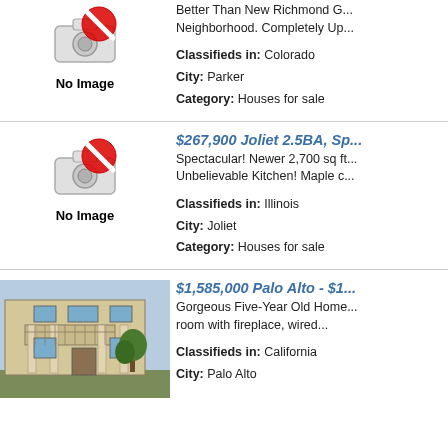[Figure (photo): No Image placeholder icon with camera crossed out]
Better Than New Richmond G... Neighborhood. Completely Up...
Classifieds in: Colorado
City: Parker
Category: Houses for sale
[Figure (photo): No Image placeholder icon with camera crossed out]
$267,900 Joliet 2.5BA, Sp...
Spectacular! Newer 2,700 sq ft... Unbelievable Kitchen! Maple c...
Classifieds in: Illinois
City: Joliet
Category: Houses for sale
[Figure (photo): Photo of a two-story beige/tan house with balcony and columns, tree in front]
$1,585,000 Palo Alto - $1...
Gorgeous Five-Year Old Home... room with fireplace, wired...
Classifieds in: California
City: Palo Alto